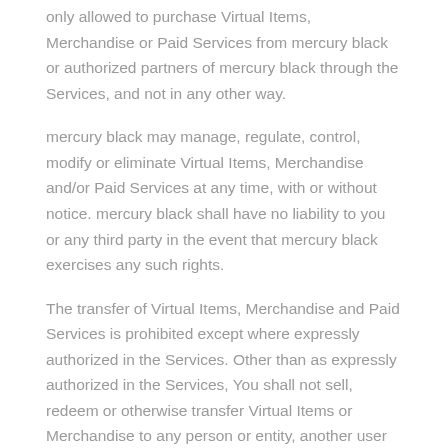only allowed to purchase Virtual Items, Merchandise or Paid Services from mercury black or authorized partners of mercury black through the Services, and not in any other way.
mercury black may manage, regulate, control, modify or eliminate Virtual Items, Merchandise and/or Paid Services at any time, with or without notice. mercury black shall have no liability to you or any third party in the event that mercury black exercises any such rights.
The transfer of Virtual Items, Merchandise and Paid Services is prohibited except where expressly authorized in the Services. Other than as expressly authorized in the Services, You shall not sell, redeem or otherwise transfer Virtual Items or Merchandise to any person or entity, another user or any third party.
ALL PURCHASES AND REDEMPTIONS OF THIRD PARTY VIRTUAL CURRENCY MADE THROUGH THE SERVICES ARE FINAL AND NON-REFUNDABLE.